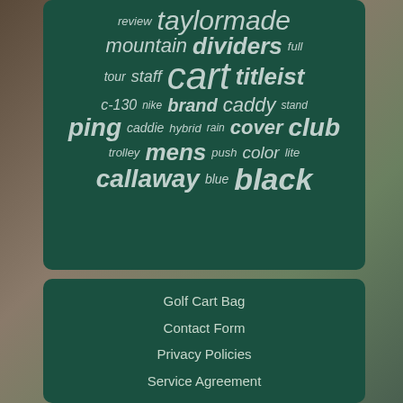[Figure (infographic): A tag cloud on a dark green background showing golf bag related keywords in various sizes and italic/bold styles. Words include: taylormade, review, mountain, dividers, full, tour, staff, cart, titleist, c-130, nike, brand, caddy, stand, ping, caddie, hybrid, rain, cover, club, trolley, mens, push, color, lite, callaway, blue, black. Below the tag cloud is a navigation section with links: Golf Cart Bag, Contact Form, Privacy Policies, Service Agreement.]